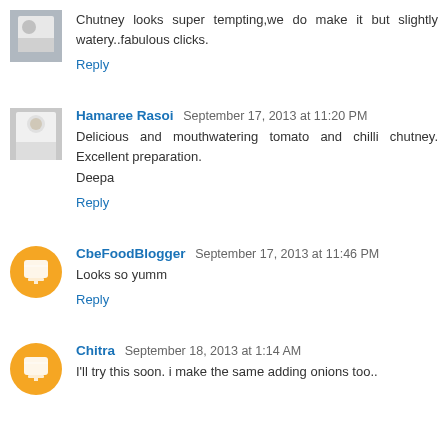Chutney looks super tempting,we do make it but slightly watery..fabulous clicks.
Reply
Hamaree Rasoi  September 17, 2013 at 11:20 PM
Delicious and mouthwatering tomato and chilli chutney. Excellent preparation.
Deepa
Reply
CbeFoodBlogger  September 17, 2013 at 11:46 PM
Looks so yumm
Reply
Chitra  September 18, 2013 at 1:14 AM
I'll try this soon. i make the same adding onions too..